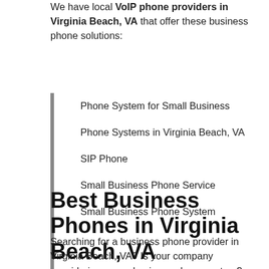We have local VoIP phone providers in Virginia Beach, VA that offer these business phone solutions:
Phone System for Small Business
Phone Systems in Virginia Beach, VA
SIP Phone
Small Business Phone Service
Small Business Phone System
Best Business Phones in Virginia Beach, VA
Searching for a business phone provider in Virginia Beach, VA? Is your company considering a new business phone system? High-quality business phone systems are costly, and to save money, your small business should consider getting several